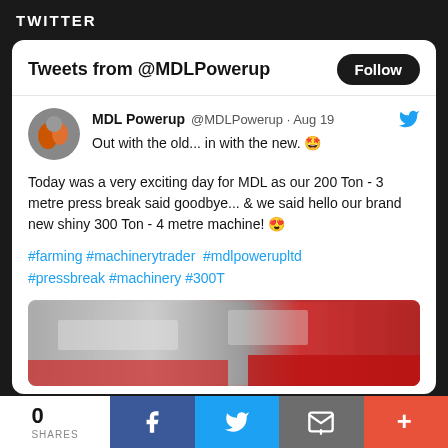TWITTER
Tweets from @MDLPowerup
MDL Powerup @MDLPowerup · Aug 19
Out with the old... in with the new. 🤩
Today was a very exciting day for MDL as our 200 Ton - 3 metre press break said goodbye... & we said hello our brand new shiny 300 Ton - 4 metre machine! 😍
#farming #machinerytrader  #mdlpowerupltd #pressbreak #machinery #300T
[Figure (photo): Blurred photo of machinery, partially visible at bottom of tweet card]
0
SHARES